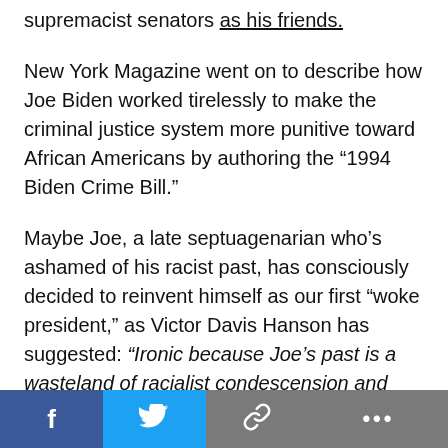supremacist senators as his friends.
New York Magazine went on to describe how Joe Biden worked tirelessly to make the criminal justice system more punitive toward African Americans by authoring the “1994 Biden Crime Bill.”
Maybe Joe, a late septuagenarian who’s ashamed of his racist past, has consciously decided to reinvent himself as our first “woke president,” as Victor Davis Hanson has suggested: “Ironic because Joe’s past is a wasteland of racialist condescension and prejudicial gaffes.”  I encourage you to read Hanson’s latest column entitled, “The Joe Biden Who Never Was.”  It’s revealing.  In a deeply disturbing way.
But I don’t think Biden is that smart or competent, as I